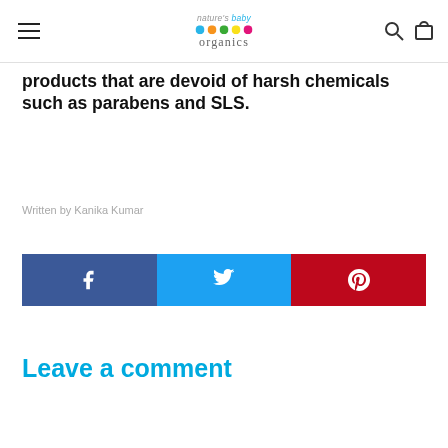nature's baby organics — navigation header with logo, hamburger menu, search and cart icons
products that are devoid of harsh chemicals such as parabens and SLS.
Written by Kanika Kumar
[Figure (infographic): Social sharing buttons: Facebook (blue), Twitter (light blue), Pinterest (red), each with white icon]
Leave a comment